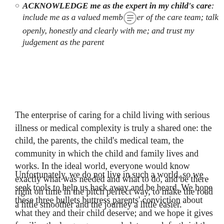ACKNOWLEDGE me as the expert in my child's care: include me as a valued member of the care team; talk openly, honestly and clearly with me; and trust my judgement as the parent
The enterprise of caring for a child living with serious illness or medical complexity is truly a shared one: the child, the parents, the child's medical team, the community in which the child and family lives and works. In the ideal world, everyone would know exactly what was needed and what to do, and be there right on time in the pitch perfect way, to make the road a little smoother and the journey a little easier.
Unfortunately, we do not live in such a world, so we seek tools to help us hack away and be heard. We hope these three bullets buttress parents' conviction about what they and their child deserve; and we hope it gives families the language, as needed, to speak forthrightly